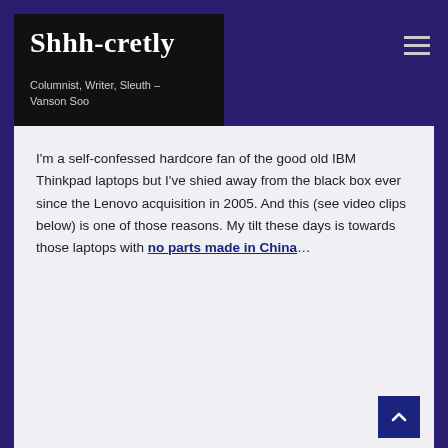Shhh-cretly
Columnist, Writer, Sleuth – Vanson Soo
I'm a self-confessed hardcore fan of the good old IBM Thinkpad laptops but I've shied away from the black box ever since the Lenovo acquisition in 2005. And this (see video clips below) is one of those reasons. My tilt these days is towards those laptops with no parts made in China…